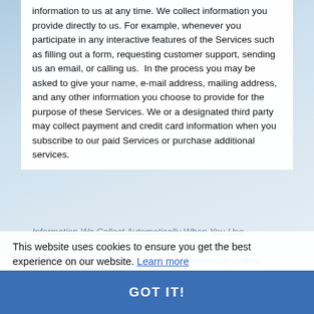information to us at any time. We collect information you provide directly to us. For example, whenever you participate in any interactive features of the Services such as filling out a form, requesting customer support, sending us an email, or calling us.  In the process you may be asked to give your name, e-mail address, mailing address, and any other information you choose to provide for the purpose of these Services. We or a designated third party may collect payment and credit card information when you subscribe to our paid Services or purchase additional services.
Information We Collect Automatically When You Use
experience on our website, we may automatically collect information about you, including:
This website uses cookies to ensure you get the best experience on our website. Learn more
Log Information: We log information about your use of the Services, including the type of browser you use, access times, pages viewed, your IP address, your general